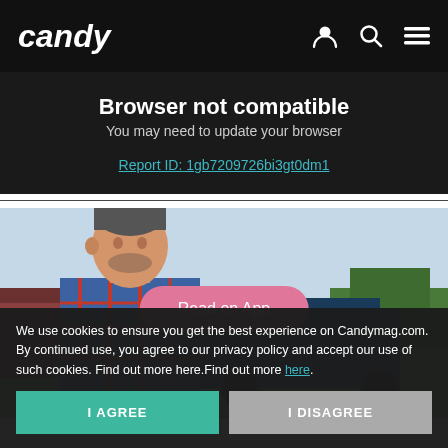candy
Browser not compatible
You may need to update your browser
Report ID: 1gb7209726bi3gt0dm1
[Figure (photo): Man in plaid shirt leaning against farm equipment with fields and trees in the background. A pink 'Read on App' button overlays the image.]
We use cookies to ensure you get the best experience on Candymag.com. By continued use, you agree to our privacy policy and accept our use of such cookies. Find out more here.Find out more here.
I AGREE
I DISAGREE